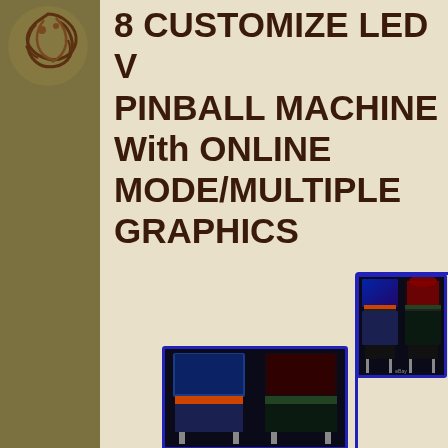[Figure (logo): Decorative swirly logo icon in brown/gold tones on olive background, top left corner]
8 CUSTOMIZE LED VR PINBALL MACHINE With ONLINE MODE/MULTIPLE GRAPHICS
[Figure (photo): Two pinball machines side by side showing customizable LED graphics: left machine displays Back to the Future themed artwork, right machine displays Jurassic Park themed artwork. Both machines shown full view with legs visible. eBay watermark at bottom right.]
[Figure (photo): Thumbnail image of two pinball machines side by side, smaller version of main product photo.]